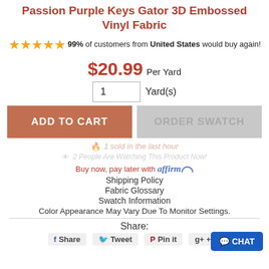Passion Purple Keys Gator 3D Embossed Vinyl Fabric
99% of customers from United States would buy again!
$20.99 Per Yard
1 Yard(s)
ADD TO CART
ORDER SWATCH
1 sold in the last hour
2 People Are Watching This Product Now!
Buy now, pay later with affirm
Shipping Policy
Fabric Glossary
Swatch Information
Color Appearance May Vary Due To Monitor Settings.
Share:
Share  Tweet  Pin it  +1